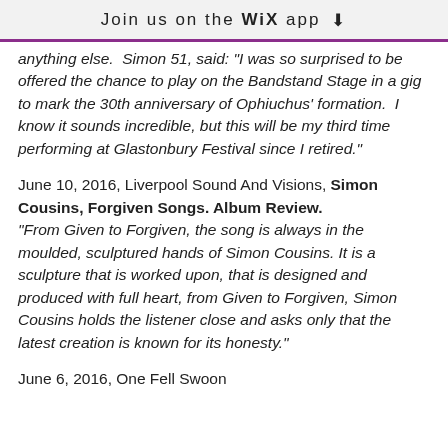Join us on the WiX app ↓
anything else.  Simon 51, said: "I was so surprised to be offered the chance to play on the Bandstand Stage in a gig to mark the 30th anniversary of Ophiuchus' formation.  I know it sounds incredible, but this will be my third time performing at Glastonbury Festival since I retired."
June 10, 2016, Liverpool Sound And Visions, Simon Cousins, Forgiven Songs. Album Review. "From Given to Forgiven, the song is always in the moulded, sculptured hands of Simon Cousins. It is a sculpture that is worked upon, that is designed and produced with full heart, from Given to Forgiven, Simon Cousins holds the listener close and asks only that the latest creation is known for its honesty."
June 6, 2016, One Fell Swoon